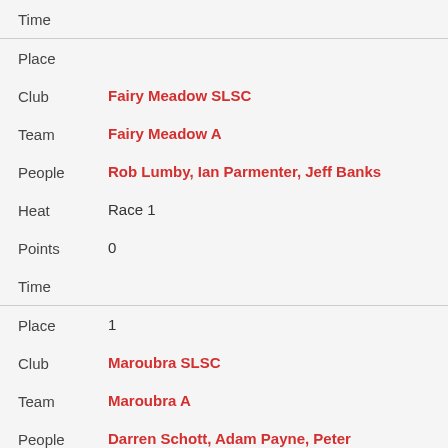| Field | Value |
| --- | --- |
| Time |  |
| Place |  |
| Club | Fairy Meadow SLSC |
| Team | Fairy Meadow A |
| People | Rob Lumby, Ian Parmenter, Jeff Banks |
| Heat | Race 1 |
| Points | 0 |
| Time |  |
| Place | 1 |
| Club | Maroubra SLSC |
| Team | Maroubra A |
| People | Darren Schott, Adam Payne, Peter Kirkwood |